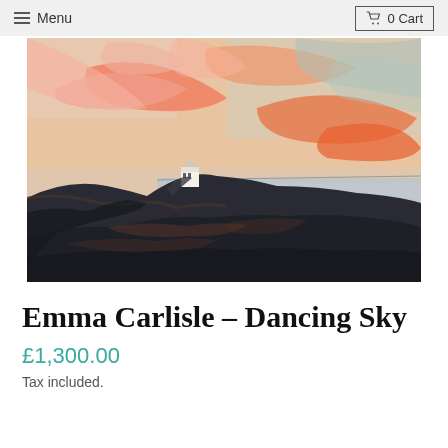Menu  0 Cart
[Figure (illustration): Oil painting of a coastal landscape with dark rocky cliffs in the foreground, a white building/lighthouse on the cliff, and a dramatic orange-pink sky with expressive brushstrokes. The sea/water is visible in the middle distance.]
Emma Carlisle – Dancing Sky
£1,300.00
Tax included.